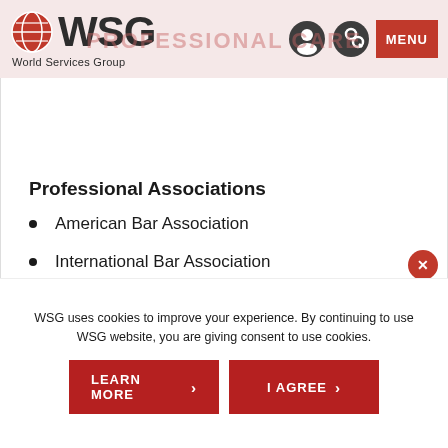WSG World Services Group — PROFESSIONAL CAREERS
Professional Associations
American Bar Association
International Bar Association
International Trademark Association
WSG uses cookies to improve your experience. By continuing to use WSG website, you are giving consent to use cookies.
LEARN MORE
I AGREE